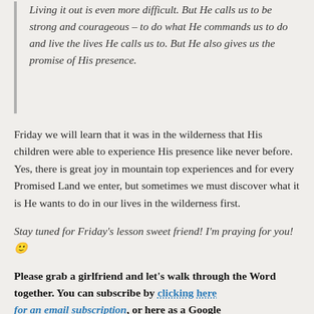Living it out is even more difficult. But He calls us to be strong and courageous – to do what He commands us to do and live the lives He calls us to. But He also gives us the promise of His presence.
Friday we will learn that it was in the wilderness that His children were able to experience His presence like never before. Yes, there is great joy in mountain top experiences and for every Promised Land we enter, but sometimes we must discover what it is He wants to do in our lives in the wilderness first.
Stay tuned for Friday's lesson sweet friend! I'm praying for you! 🙂
Please grab a girlfriend and let's walk through the Word together. You can subscribe by clicking here for an email subscription, or here as a Google